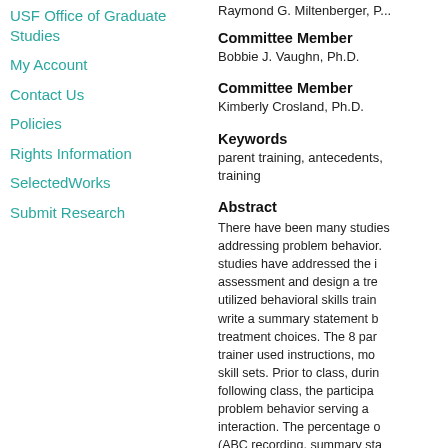USF Office of Graduate Studies
My Account
Contact Us
Policies
Rights Information
SelectedWorks
Submit Research
Raymond G. Miltenberger, P...
Committee Member
Bobbie J. Vaughn, Ph.D.
Committee Member
Kimberly Crosland, Ph.D.
Keywords
parent training, antecedents, training
Abstract
There have been many studies addressing problem behavior. studies have addressed the i assessment and design a tre utilized behavioral skills train write a summary statement b treatment choices. The 8 par trainer used instructions, mo skill sets. Prior to class, durin following class, the participa problem behavior serving a interaction. The percentage o (ABC recording, summary sta